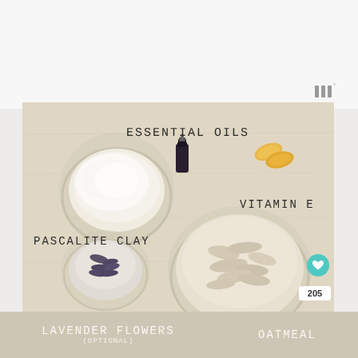[Figure (photo): Flat lay photo on a light beige wooden surface showing five natural skincare ingredients in glass bowls and small containers: a bowl of white Pascalite Clay powder (left), a small dark essential oil bottle in the center-top, two yellow Vitamin E gel capsules (top right), a small bowl of dried lavender flowers (bottom left), and a large bowl of oatmeal flakes (bottom right). Each ingredient is labeled in uppercase typewriter-style text. A small teal heart icon button and '205' count badge appear on the right edge. The main image is overlaid on a light gray background with a logo (three bars and a degree symbol) in the top right.]
LAVENDER FLOWERS
(OPTIONAL)
OATMEAL